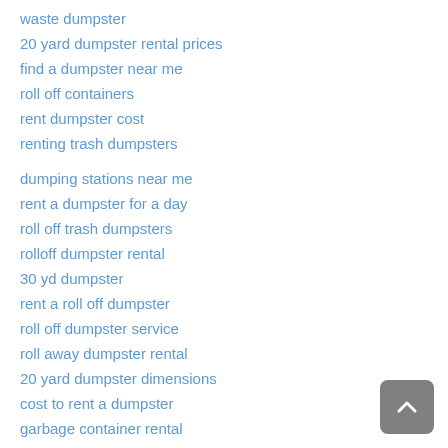waste dumpster
20 yard dumpster rental prices
find a dumpster near me
roll off containers
rent dumpster cost
renting trash dumpsters
dumping stations near me
rent a dumpster for a day
roll off trash dumpsters
rolloff dumpster rental
30 yd dumpster
rent a roll off dumpster
roll off dumpster service
roll away dumpster rental
20 yard dumpster dimensions
cost to rent a dumpster
garbage container rental
junk hauling